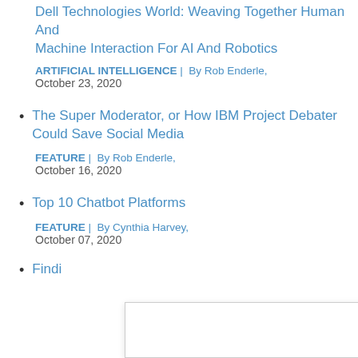Dell Technologies World: Weaving Together Human And Machine Interaction For AI And Robotics
ARTIFICIAL INTELLIGENCE |  By Rob Enderle, October 23, 2020
The Super Moderator, or How IBM Project Debater Could Save Social Media
FEATURE |  By Rob Enderle, October 16, 2020
Top 10 Chatbot Platforms
FEATURE |  By Cynthia Harvey, October 07, 2020
Findi…